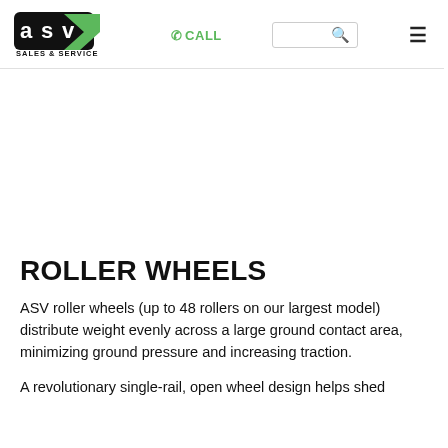ASV Sales & Service | CALL | Search | Menu
[Figure (other): Large white/empty hero area placeholder]
ROLLER WHEELS
ASV roller wheels (up to 48 rollers on our largest model) distribute weight evenly across a large ground contact area, minimizing ground pressure and increasing traction.
A revolutionary single-rail, open wheel design helps shed